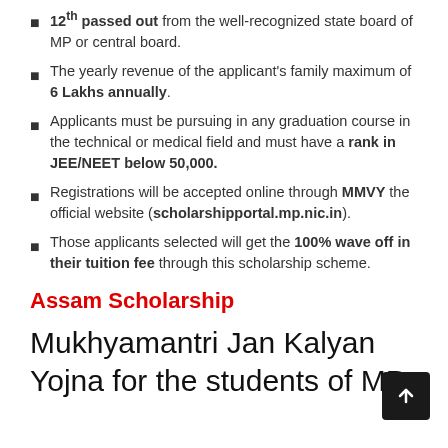12th passed out from the well-recognized state board of MP or central board.
The yearly revenue of the applicant's family maximum of 6 Lakhs annually.
Applicants must be pursuing in any graduation course in the technical or medical field and must have a rank in JEE/NEET below 50,000.
Registrations will be accepted online through MMVY the official website (scholarshipportal.mp.nic.in).
Those applicants selected will get the 100% wave off in their tuition fee through this scholarship scheme.
Assam Scholarship
Mukhyamantri Jan Kalyan Yojna for the students of MP: